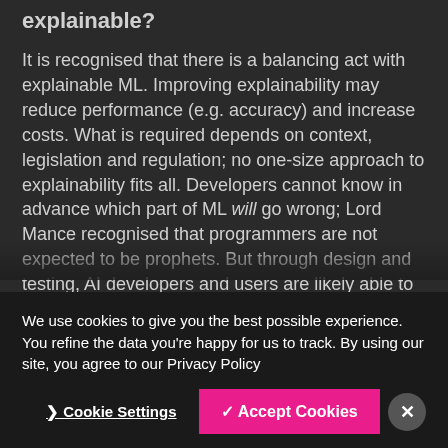explainable?
It is recognised that there is a balancing act with explainable ML. Improving explainability may reduce performance (e.g. accuracy) and increase costs. What is required depends on context, legislation and regulation; no one-size approach to explainability fits all. Developers cannot know in advance which part of ML will go wrong; Lord Mance recognised that programmers are not expected to be prophets. But through design and testing, AI developers and users are likely able to risk assess which areas may go wrong, the potential impact, how the risk can be managed and what can be done after the event to explain what
We use cookies to give you the best possible experience. You refine the data you're happy for us to track. By using our site, you agree to our Privacy Policy